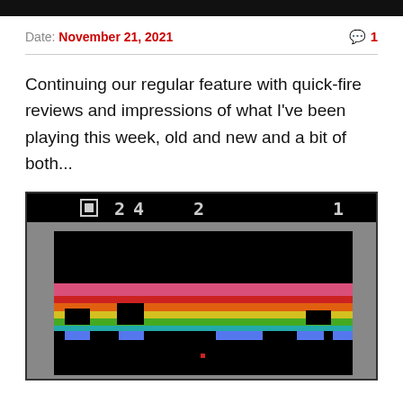Date: November 21, 2021   💬 1
Continuing our regular feature with quick-fire reviews and impressions of what I've been playing this week, old and new and a bit of both...
[Figure (screenshot): Screenshot of a retro Atari video game showing a score display '0 24 2 1' on a black top bar, with a colorful rainbow-striped landscape scene showing colored terrain blocks (pink, red, orange, yellow, green stripes) with black platform obstacles and blue blocks, against a black background. A small red dot is visible in the lower center of the screen.]